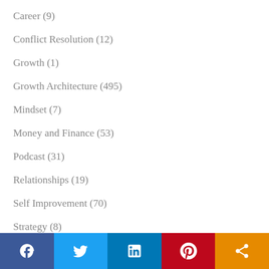Career (9)
Conflict Resolution (12)
Growth (1)
Growth Architecture (495)
Mindset (7)
Money and Finance (53)
Podcast (31)
Relationships (19)
Self Improvement (70)
Strategy (8)
Uncategorized (7)
Unification (4)